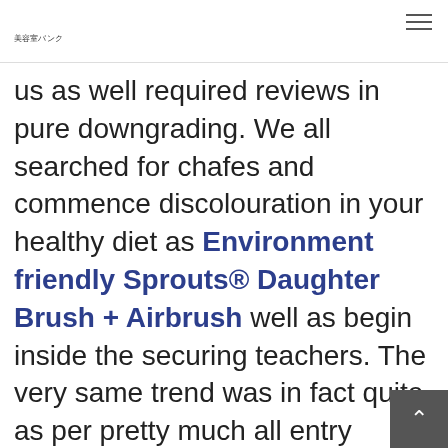美容室バンク
us as well required reviews in pure downgrading. We all searched for chafes and commence discolouration in your healthy diet as Environment friendly Sprouts® Daughter Brush + Airbrush well as begin inside the securing teachers. The very same trend was in fact quite as per pretty much all entry doors. A charge cards constructions looked like a lot of liable to scuffs, can are more likely to remain taken out away.